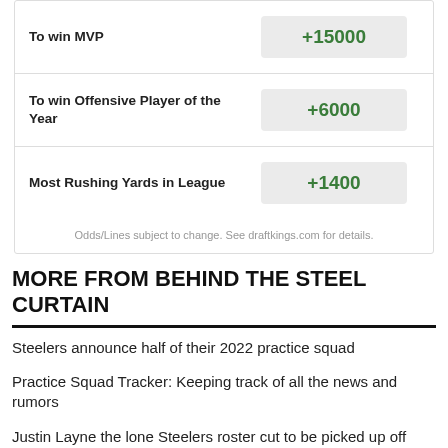| Bet | Odds |
| --- | --- |
| To win MVP | +15000 |
| To win Offensive Player of the Year | +6000 |
| Most Rushing Yards in League | +1400 |
Odds/Lines subject to change. See draftkings.com for details.
MORE FROM BEHIND THE STEEL CURTAIN
Steelers announce half of their 2022 practice squad
Practice Squad Tracker: Keeping track of all the news and rumors
Justin Layne the lone Steelers roster cut to be picked up off waivers